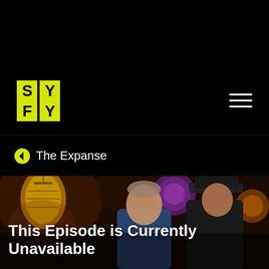[Figure (logo): SYFY channel logo in yellow-green block letters on black background, navigation header with hamburger menu]
← The Expanse
[Figure (photo): A dark scene from The Expanse TV show with two men facing each other in a dimly lit bar/tavern setting with colorful lanterns in the background. White text overlay reads: This Episode is Currently Unavailable]